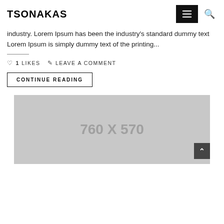TSONAKAS
industry. Lorem Ipsum has been the industry's standard dummy text Lorem Ipsum is simply dummy text of the printing...
1 LIKES   LEAVE A COMMENT
CONTINUE READING
[Figure (photo): Placeholder image showing dimensions 760 X 570 on a gray background]